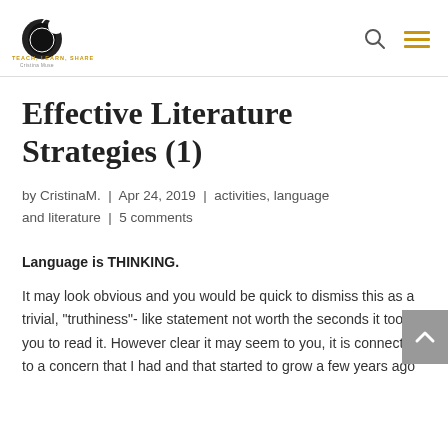Teach, Learn, Share — Cristina Muse logo with search and menu icons
Effective Literature Strategies (1)
by CristinaM. | Apr 24, 2019 | activities, language and literature | 5 comments
Language is THINKING.
It may look obvious and you would be quick to dismiss this as a trivial, "truthiness"- like statement not worth the seconds it took you to read it. However clear it may seem to you, it is connected to a concern that I had and that started to grow a few years ago